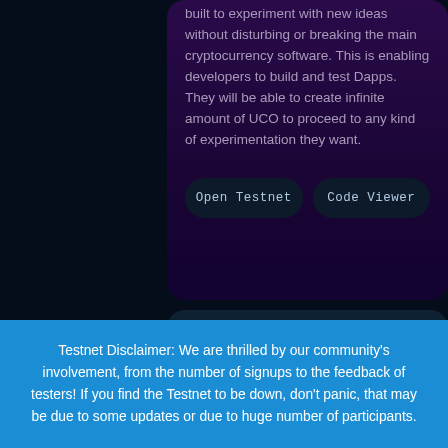built to experiment with new ideas without disturbing or breaking the main cryptocurrency software. This is enabling developers to build and test Dapps. They will be able to create infinite amount of UCO to proceed to any kind of experimentation they want.
[Figure (other): Two rounded button elements: 'Open Testnet' and 'Code Viewer' on a dark background]
[Figure (other): Partial teal/dark card panel at bottom of purple section]
Testnet Disclaimer: We are thrilled by our community's involvement, from the number of signups to the feedback of testers! If you find the Testnet to be down, don't panic, that may be due to some updates or due to huge number of participants.